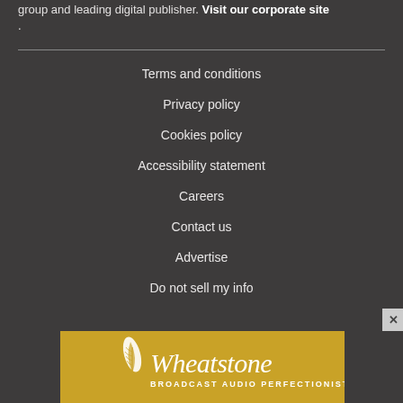group and leading digital publisher. Visit our corporate site .
Terms and conditions
Privacy policy
Cookies policy
Accessibility statement
Careers
Contact us
Advertise
Do not sell my info
[Figure (logo): Wheatstone Broadcast Audio Perfectionists advertisement banner in gold/yellow with white feather logo and italic text]